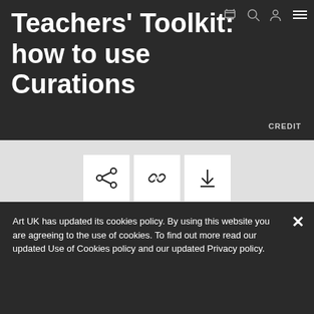Teachers' Toolkit: how to use Curations
[Figure (screenshot): Navigation icons: shopping cart, search, user account, hamburger menu in top right of dark header]
CREDIT
[Figure (screenshot): Toolbar with three icon buttons: share, link/chain, and download on light grey background]
Art UK has updated its cookies policy. By using this website you are agreeing to the use of cookies. To find out more read our updated Use of Cookies policy and our updated Privacy policy.